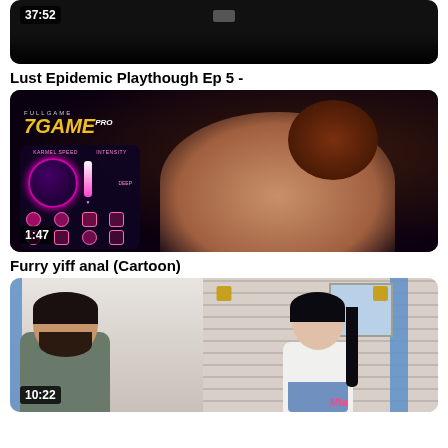[Figure (screenshot): Partial video thumbnail showing dark background with timestamp 37:52 in top-left and small icon in center-top]
Lust Epidemic Playthough Ep 5 -
[Figure (screenshot): 3D animated adult game video thumbnail showing female character, with ZGAME PRO logo overlay, game UI panel on left, timestamp 1:47]
Furry yiff anal (Cartoon)
[Figure (screenshot): Animated adult game thumbnail showing two characters sitting and talking on a couch in a living room interior, with 'Mia' name tag and timestamp 10:22]